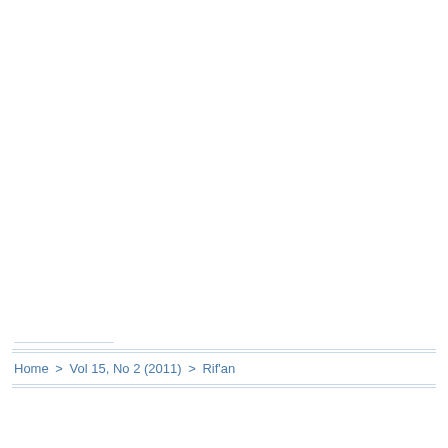Home > Vol 15, No 2 (2011) > Rif'an